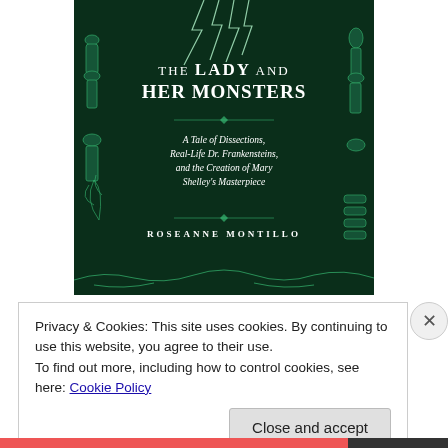[Figure (illustration): Book cover of 'The Lady and Her Monsters' by Roseanne Montillo. Dark green background with anatomical skeletal and botanical illustrations forming a border. Lightning bolts at the top. Title in white serif text: 'THE LADY AND HER MONSTERS'. Subtitle: 'A Tale of Dissections, Real-Life Dr. Frankensteins, and the Creation of Mary Shelley's Masterpiece'. Author name: 'ROSEANNE MONTILLO'.]
Privacy & Cookies: This site uses cookies. By continuing to use this website, you agree to their use.
To find out more, including how to control cookies, see here: Cookie Policy